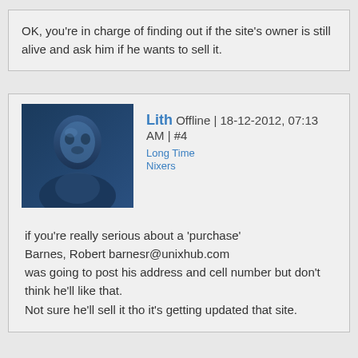OK, you're in charge of finding out if the site's owner is still alive and ask him if he wants to sell it.
Lith Offline | 18-12-2012, 07:13 AM | #4
Long Time Nixers
[Figure (photo): Blue-tinted avatar photo of a person]
if you're really serious about a 'purchase'
Barnes, Robert barnesr@unixhub.com
was going to post his address and cell number but don't think he'll like that.
Not sure he'll sell it tho it's getting updated that site.